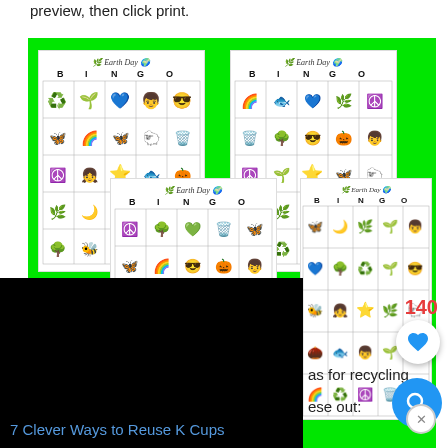preview, then click print.
[Figure (illustration): Four Earth Day BINGO cards arranged on a bright green background, each card showing a 5x5 grid with colorful Earth Day themed icons (recycle symbol, peace sign, butterfly, rainbow, bee, star, fish, tree, etc.) and the title 'Earth Day BINGO' at the top.]
140
as for recycling
ese out:
7 Clever Ways to Reuse K Cups